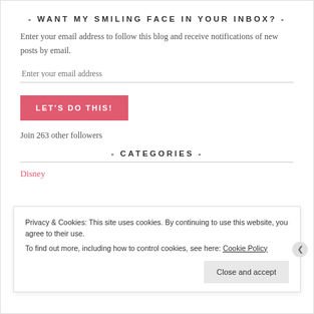- WANT MY SMILING FACE IN YOUR INBOX? -
Enter your email address to follow this blog and receive notifications of new posts by email.
Join 263 other followers
- CATEGORIES -
Disney
Privacy & Cookies: This site uses cookies. By continuing to use this website, you agree to their use.
To find out more, including how to control cookies, see here: Cookie Policy